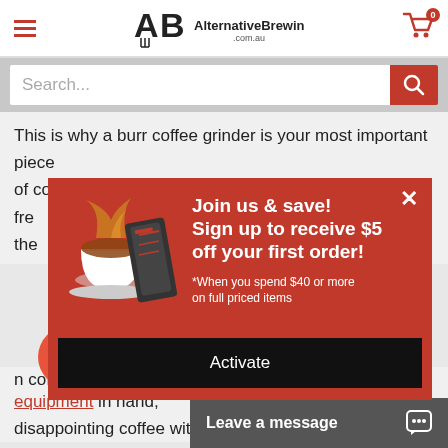AlternativeBrewing.com.au — navigation header with hamburger menu, logo, and cart icon
Search...
This is why a burr coffee grinder is your most important piece of coffee equipment. You'll be able to preserve those fre[...] ice the[...]
[Figure (screenshot): Red popup overlay with coffee cup image and AeroPress device. Text: Join us & save! Sign up to receive $5 off your first order! *When you spend $40 or more on full priced items. Black Activate button.]
Wh[...] s wh[...] and[...] a gra[...] too little coffee and water. Guessing is a great way to brew disappointing coffee without realising it.
n coffee, filtered water and your V60 coffee brewing equipment in hand,